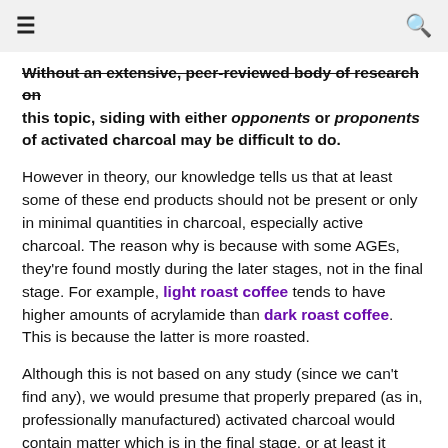≡  🔍
Without an extensive, peer-reviewed body of research on this topic, siding with either opponents or proponents of activated charcoal may be difficult to do.
However in theory, our knowledge tells us that at least some of these end products should not be present or only in minimal quantities in charcoal, especially active charcoal. The reason why is because with some AGEs, they're found mostly during the later stages, not in the final stage. For example, light roast coffee tends to have higher amounts of acrylamide than dark roast coffee. This is because the latter is more roasted.
Although this is not based on any study (since we can't find any), we would presume that properly prepared (as in, professionally manufactured) activated charcoal would contain matter which is in the final stage, or at least it should